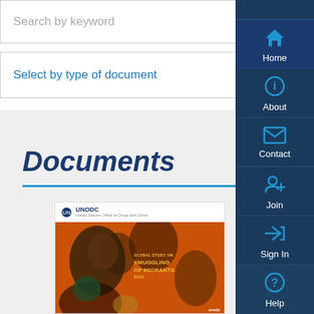Search by keyword
Select by type of document
Documents
[Figure (screenshot): UNODC book cover for 'Global Study on Smuggling of Migrants 2018' with orange background painting]
[Figure (infographic): Right navigation sidebar with Home, About, Contact, Join, Sign In, Help icons on dark navy background]